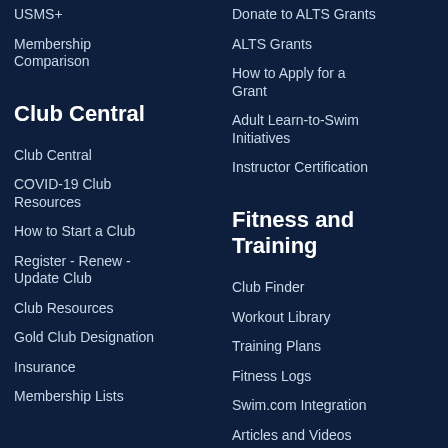USMS+
Membership Comparison
Club Central
Club Central
COVID-19 Club Resources
How to Start a Club
Register - Renew - Update Club
Club Resources
Gold Club Designation
Insurance
Membership Lists
Donate to ALTS Grants
ALTS Grants
How to Apply for a Grant
Adult Learn-to-Swim Initiatives
Instructor Certification
Fitness and Training
Club Finder
Workout Library
Training Plans
Fitness Logs
Swim.com Integration
Articles and Videos